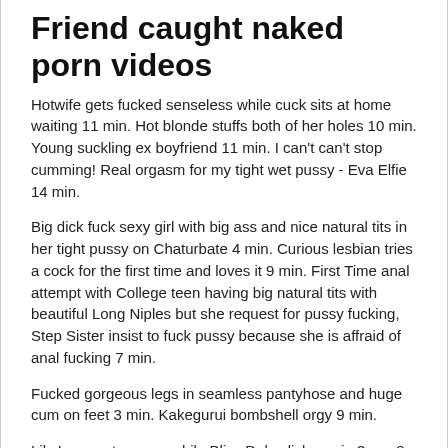Friend caught naked porn videos
Hotwife gets fucked senseless while cuck sits at home waiting 11 min. Hot blonde stuffs both of her holes 10 min. Young suckling ex boyfriend 11 min. I can't can't stop cumming! Real orgasm for my tight wet pussy - Eva Elfie 14 min.
Big dick fuck sexy girl with big ass and nice natural tits in her tight pussy on Chaturbate 4 min. Curious lesbian tries a cock for the first time and loves it 9 min. First Time anal attempt with College teen having big natural tits with beautiful Long Niples but she request for pussy fucking, Step Sister insist to fuck pussy because she is affraid of anal fucking 7 min.
Fucked gorgeous legs in seamless pantyhose and huge cum on feet 3 min. Kakegurui bombshell orgy 9 min.
Lily Lane eats pussy while Bliss Dulce lick ass in 3way 8 min. Tiny4K - Petite cute Trisha Parks likes to play with big cocks 7 min.